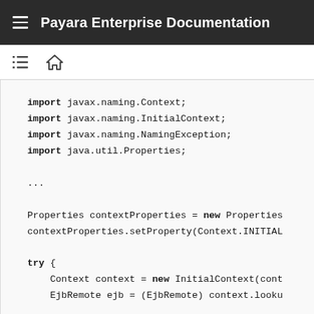Payara Enterprise Documentation
import javax.naming.Context;
import javax.naming.InitialContext;
import javax.naming.NamingException;
import java.util.Properties;

...

Properties contextProperties = new Properties
contextProperties.setProperty(Context.INITIAL

try {
    Context context = new InitialContext(cont
    EjbRemote ejb = (EjbRemote) context.looku

    T       Gl b lT        t()